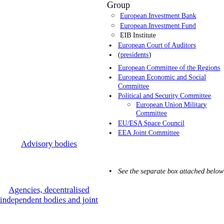Group
European Investment Bank
European Investment Fund
EIB Institute
European Court of Auditors
(presidents)
European Committee of the Regions
European Economic and Social Committee
Political and Security Committee
European Union Military Committee
EU/ESA Space Council
EEA Joint Committee
Advisory bodies
Agencies, decentralised independent bodies and joint
See the separate box attached below